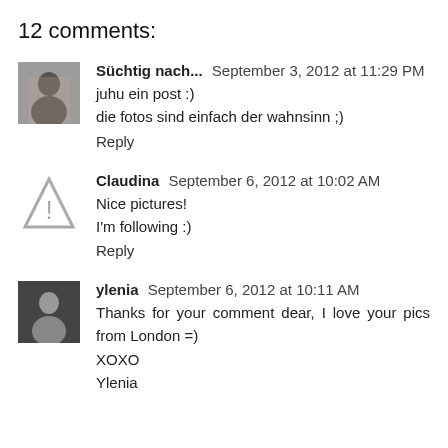12 comments:
Süchtig nach...  September 3, 2012 at 11:29 PM
juhu ein post :)
die fotos sind einfach der wahnsinn ;)
Reply
Claudina  September 6, 2012 at 10:02 AM
Nice pictures!
I'm following :)
Reply
ylenia  September 6, 2012 at 10:11 AM
Thanks for your comment dear, I love your pics from London =)
XOXO
Ylenia